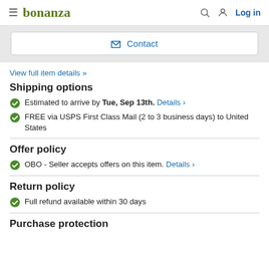bonanza  Log in
Contact
View full item details »
Shipping options
Estimated to arrive by Tue, Sep 13th. Details ›
FREE via USPS First Class Mail (2 to 3 business days) to United States
Offer policy
OBO - Seller accepts offers on this item. Details ›
Return policy
Full refund available within 30 days
Purchase protection